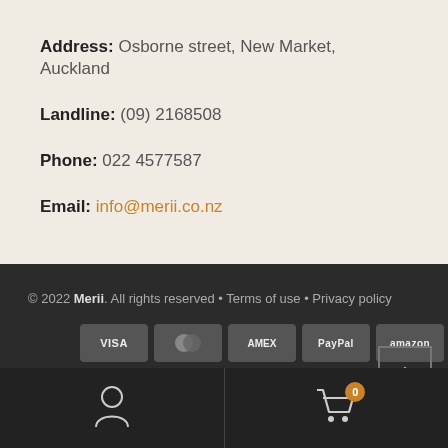Address: Osborne street, New Market, Auckland
Landline: (09) 2168508
Phone: 022 4577587
Email: info@merii.co.nz
© 2022 Merii. All rights reserved • Terms of use • Privacy policy
[Figure (other): Payment method icons: VISA, Mastercard, AMEX, PayPal, Amazon]
[Figure (other): Back to top arrow button]
[Figure (other): Bottom navigation bar with user account icon (left) and shopping cart with 0 badge (right)]